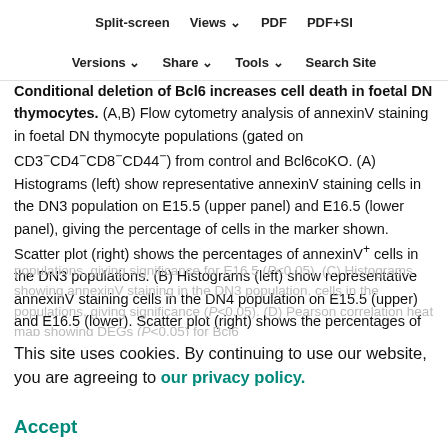Split-screen | Views | PDF | PDF+SI
Versions | Share | Tools | Search Site
Conditional deletion of Bcl6 increases cell death in foetal DN thymocytes. (A,B) Flow cytometry analysis of annexinV staining in foetal DN thymocyte populations (gated on CD3⁻CD4⁻CD8⁻CD44⁻) from control and Bcl6coKO. (A) Histograms (left) show representative annexinV staining cells in the DN3 population on E15.5 (upper panel) and E16.5 (lower panel), giving the percentage of cells in the marker shown. Scatter plot (right) shows the percentages of annexinV⁺ cells in the DN3 populations. (B) Histograms (left) show representative annexinV staining cells in the DN4 population on E15.5 (upper) and E16.5 (lower). Scatter plot (right) shows the percentages of annexinV⁺ cells in the DN4 populations, giving significance for E16.5 (P<0.05). (C) Histograms showing annexinV staining in the DN3 population. (D) Pearson correlation heat map showing DEGs (P<0.05) for Bcl6...
This site uses cookies. By continuing to use our website, you are agreeing to our privacy policy. Accept